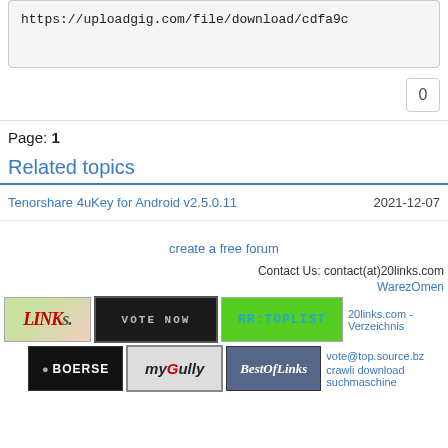https://uploadgig.com/file/download/cdfa9c
0
Page: 1
Related topics
Tenorshare 4uKey for Android v2.5.0.11
2021-12-07
create a free forum
Contact Us: contact(at)20links.com
WarezOmen